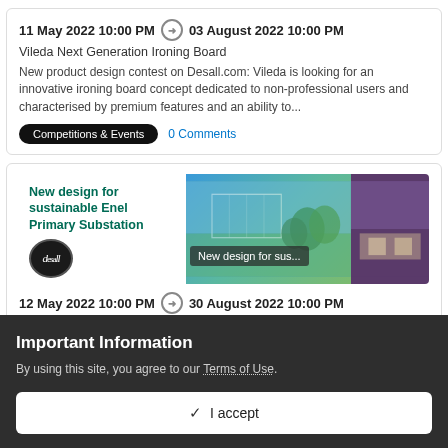11 May 2022 10:00 PM → 03 August 2022 10:00 PM
Vileda Next Generation Ironing Board
New product design contest on Desall.com: Vileda is looking for an innovative ironing board concept dedicated to non-professional users and characterised by premium features and an ability to...
Competitions & Events   0 Comments
[Figure (photo): Banner image for 'New design for sustainable Enel Primary Substation' competition, showing architectural rendering and outdoor photos with Desall logo and overlay text 'New design for sus...']
12 May 2022 10:00 PM → 30 August 2022 10:00 PM
New design for sustainable Enel Primary Substation
Important Information
By using this site, you agree to our Terms of Use.
✓  I accept